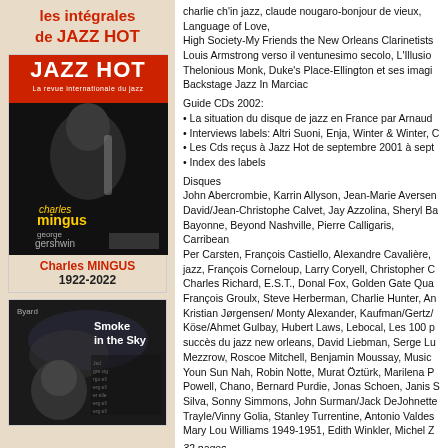les intégrales de JAZZ HOT
[Figure (illustration): Jazz Hot magazine cover featuring Charles Mingus with instrument, dark background with 'jazz hot', 'charles mingus', 'george gershwin' text]
Charles MINGUS
1922-2022
[Figure (illustration): Second magazine cover: Smoke in the Sky, Byard, dark image with elderly man]
charlie ch'in jazz, claude nougaro-bonjour de vieux, Language of Love, High Society-My Friends the New Orleans Clarinetists, Louis Armstrong verso il ventunesimo secolo, L'Illusio..., Thelonious Monk, Duke's Place-Ellington et ses imagi..., Backstage Jazz In Marciac
Guide CDs 2002:
• La situation du disque de jazz en France par Arnaud...
• Interviews labels: Altri Suoni, Enja, Winter & Winter, C...
• Les Cds reçus à Jazz Hot de septembre 2001 à sept...
• Index des labels
Disques
John Abercrombie, Karrin Allyson, Jean-Marie Aversen, David/Jean-Christophe Calvet, Jay Azzolina, Sheryl Ba..., Bayonne, Beyond Nashville, Pierre Calligaris, Carribean..., Per Carsten, François Castiello, Alexandre Cavalière, ...jazz, François Corneloup, Larry Coryell, Christopher C..., Charles Richard, E.S.T., Donal Fox, Golden Gate Qua..., François Groulx, Steve Herberman, Charlie Hunter, An..., Kristian Jørgensen/ Monty Alexander, Kaufman/Gertz/..., Köse/Ahmet Gulbay, Hubert Laws, Lebocal, Les 100 p..., succès du jazz new orleans, David Liebman, Serge Lu..., Mezzrow, Roscoe Mitchell, Benjamin Moussay, Music..., Youn Sun Nah, Robin Notte, Murat Öztürk, Marilena P..., Powell, Chano, Bernard Purdie, Jonas Schoen, Janis S..., Silva, Sonny Simmons, John Surman/Jack DeJohnette, Trayle/Vinny Golia, Stanley Turrentine, Antonio Valdes..., Mary Lou Williams 1949-1951, Edith Winkler, Michel Z...
32 pages
Jazz Hot n°596
détail :
Décembre 2002-Janvier 2003